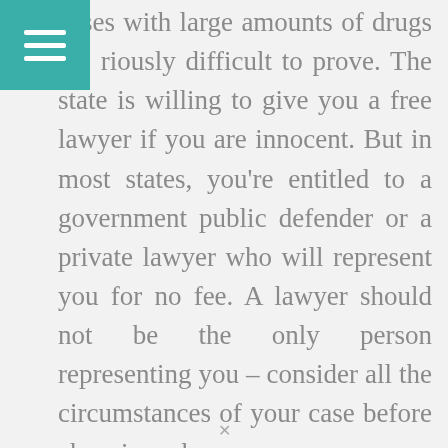cases with large amounts of drugs are riously difficult to prove. The state is willing to give you a free lawyer if you are innocent. But in most states, you're entitled to a government public defender or a private lawyer who will represent you for no fee. A lawyer should not be the only person representing you – consider all the circumstances of your case before choosing a lawyer.
When you're charged with a drug possession case, you will need a strong attorney with a proven track record. A defense lawyer will be able to argue your case and ensure that your